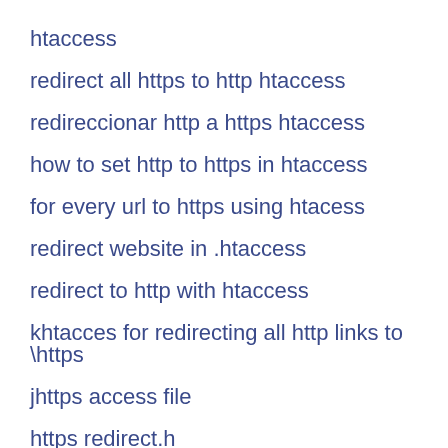htaccess
redirect all https to http htaccess
redireccionar http a https htaccess
how to set http to https in htaccess
for every url to https using htacess
redirect website in .htaccess
redirect to http with htaccess
khtacces for redirecting all http links to \https
jhttps access file
https redirect.h
http- https redirect
on https server can i foce one page to http usin gphp
redirect from httaccess